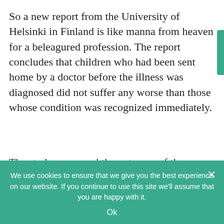So a new report from the University of Helsinki in Finland is like manna from heaven for a beleagured profession. The report concludes that children who had been sent home by a doctor before the illness was diagnosed did not suffer any worse than those whose condition was recognized immediately.
The study compared the outcome of three groups of children aged between three months and 15 years who developed
We use cookies to ensure that we give you the best experience on our website. If you continue to use this site we'll assume that you are happy with it.
Ok